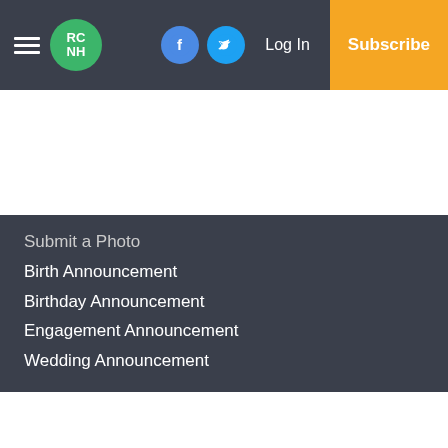RCNH [logo] | Facebook | Twitter | Log In | Subscribe
Submit a Photo
Birth Announcement
Birthday Announcement
Engagement Announcement
Wedding Announcement
Copyright
© 2022, The Roanoke-Chowan News-Herald